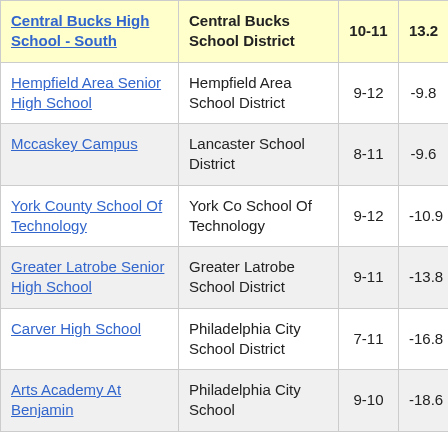| School | District | Grades | Value |
| --- | --- | --- | --- |
| Central Bucks High School - South | Central Bucks School District | 10-11 | 13.2 |
| Hempfield Area Senior High School | Hempfield Area School District | 9-12 | -9.8 |
| Mccaskey Campus | Lancaster School District | 8-11 | -9.6 |
| York County School Of Technology | York Co School Of Technology | 9-12 | -10.9 |
| Greater Latrobe Senior High School | Greater Latrobe School District | 9-11 | -13.8 |
| Carver High School | Philadelphia City School District | 7-11 | -16.8 |
| Arts Academy At Benjamin | Philadelphia City School | 9-10 | -18.6 |